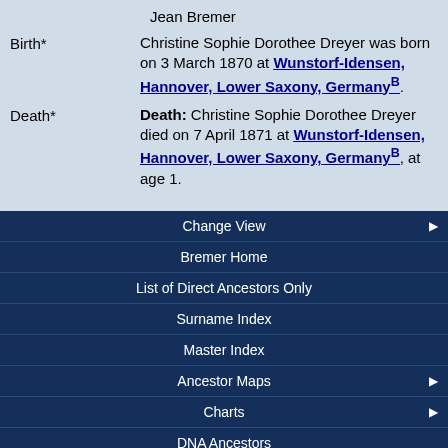Jean Bremer
Birth* Christine Sophie Dorothee Dreyer was born on 3 March 1870 at Wunstorf-Idensen, Hannover, Lower Saxony, Germany B.
Death* Death: Christine Sophie Dorothee Dreyer died on 7 April 1871 at Wunstorf-Idensen, Hannover, Lower Saxony, Germany B, at age 1.
Change View
Bremer Home
List of Direct Ancestors Only
Surname Index
Master Index
Ancestor Maps
Charts
DNA Ancestors
Exhibits
Foreign Born
Immigrated